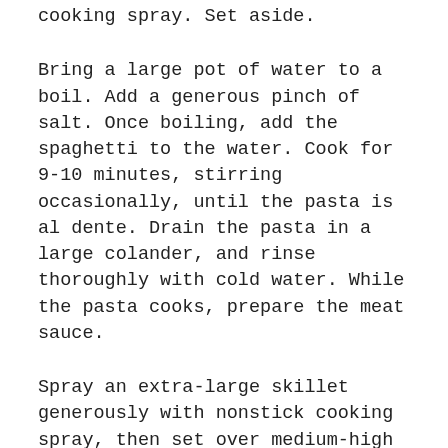cooking spray. Set aside.
Bring a large pot of water to a boil. Add a generous pinch of salt. Once boiling, add the spaghetti to the water. Cook for 9-10 minutes, stirring occasionally, until the pasta is al dente. Drain the pasta in a large colander, and rinse thoroughly with cold water. While the pasta cooks, prepare the meat sauce.
Spray an extra-large skillet generously with nonstick cooking spray, then set over medium-high heat. Add the ground beef, salt, black pepper, garlic powder, and Italian seasoning to the skillet. Cook the beef for 5-6 minutes, breaking it up with a spatula, until thoroughly browned.
Drain the fat from the skillet. Return the